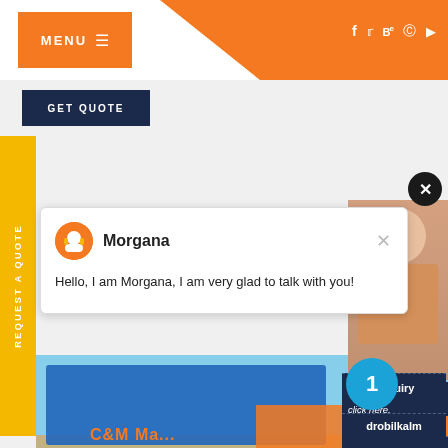[Figure (screenshot): Website header with orange MENU button and social media icons (f, twitter, Be, pinterest, youtube) on orange background triangle]
MENU ≡
f  twitter  Be  ⊕  ▶
GET QUOTE
REQUEST A QUOTE
[Figure (screenshot): Chat bot popup with avatar of Morgana, close button X in top right, message: Hello, I am Morgana, I am very glad to talk with you!]
Morgana
Hello, I am Morgana, I am very glad to talk with you!
[Figure (photo): Mining/quarry machinery - large blue industrial crushing equipment at a quarry site with mountains in background]
C&M Ma...
Have any   click here.
Quot
1
Enquiry
drobilkalm